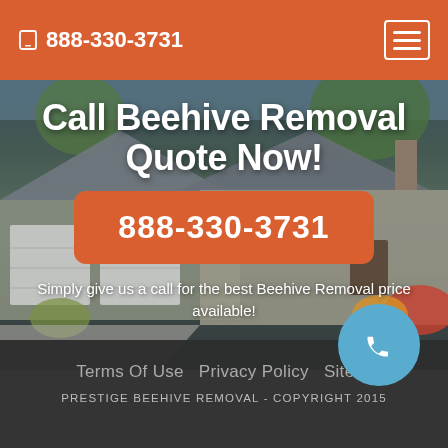888-330-3731
Call Beehive Removal Quote Now!
888-330-3731
Simply give us a call for the best Beehive Removal price available!
[Figure (photo): Background photo of a suburban house with garage and landscaping, overlaid with dark tint]
Terms Of Use  Privacy Policy  Sitemap  |  PRESTIGE BEEHIVE REMOVAL - COPYRIGHT 2015